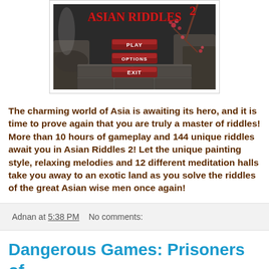[Figure (screenshot): Asian Riddles 2 game title screen showing menu buttons PLAY, OPTIONS, EXIT on a dark Asian-themed background with cherry blossoms]
The charming world of Asia is awaiting its hero, and it is time to prove again that you are truly a master of riddles! More than 10 hours of gameplay and 144 unique riddles await you in Asian Riddles 2! Let the unique painting style, relaxing melodies and 12 different meditation halls take you away to an exotic land as you solve the riddles of the great Asian wise men once again!
Adnan at 5:38 PM    No comments:
Dangerous Games: Prisoners of Destiny Collector's Edition